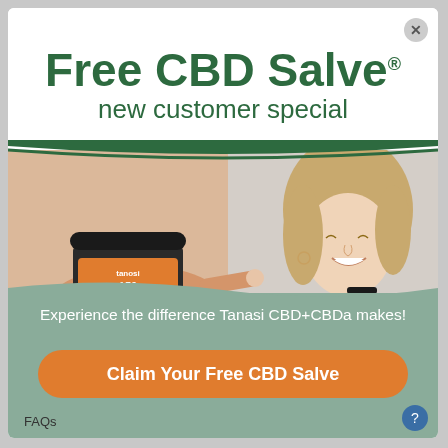Free CBD Salve new customer special
[Figure (photo): A hand holding a Tanasi 150mg CBD salve jar with fingers extended, and a smiling blonde woman holding a small jar in the background]
Experience the difference Tanasi CBD+CBDa makes!
Claim Your Free CBD Salve
FAQs